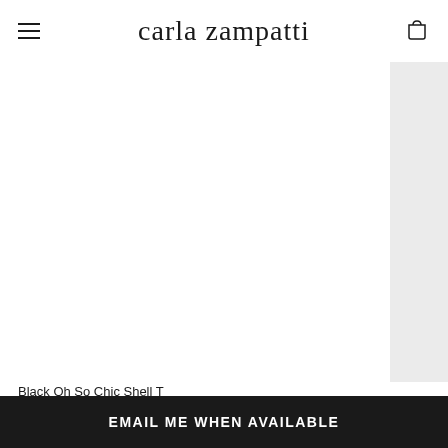carla zampatti
[Figure (photo): Product image area for Black Oh So Chic Shell Top, mostly white/blank product photo with a gray side panel on the right]
Black Oh So Chic Shell T...
$317.00  $2...
EMAIL ME WHEN AVAILABLE